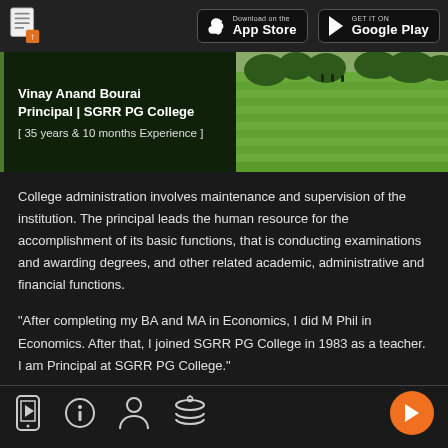Download on the App Store | GET IT ON Google Play
Vinay Anand Bourai
Principal | SGRR PG College
[ 35 years & 10 months Experience ]
[Figure (photo): Green grass lawn photo]
College administration involves maintenance and supervision of the institution. The principal leads the human resource for the accomplishment of its basic functions, that is conducting examinations and awarding degrees, and other related academic, administrative and financial functions.
"After completing my BA and MA in Economics, I did M Phil in Economics. After that, I joined SGRR PG College in 1983 as a teacher. I am Principal at SGRR PG College."
Navigation bar with icons and play button